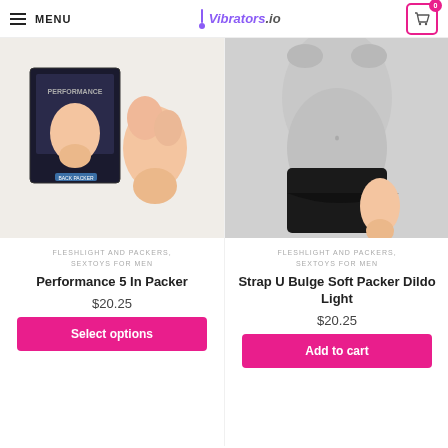MENU | Vibrators.io | Cart: 0
[Figure (photo): Product photo of Performance 5 In Packer packer device with packaging box]
FLESHLIGHT AND PACKERS, SEXTOYS FOR MEN
Performance 5 In Packer
$20.25
Select options
[Figure (photo): Product photo of Strap U Bulge Soft Packer Dildo Light shown being worn]
FLESHLIGHT AND PACKERS, SEXTOYS FOR MEN
Strap U Bulge Soft Packer Dildo Light
$20.25
Add to cart